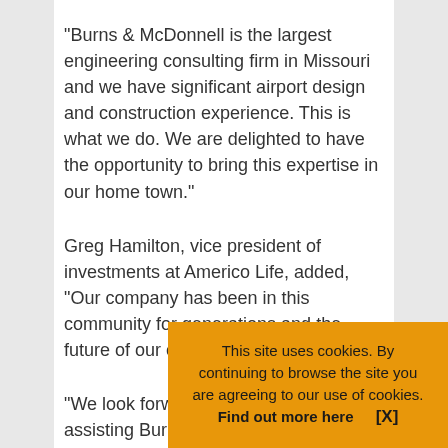“Burns & McDonnell is the largest engineering consulting firm in Missouri and we have significant airport design and construction experience. This is what we do. We are delighted to have the opportunity to bring this expertise in our home town.”
Greg Hamilton, vice president of investments at Americo Life, added, “Our company has been in this community for generations and the future of our city is very important to us.
“We look forward to next steps in assisting Burns & ... required ... we will ...
This site uses cookies. By continuing to browse the site you are agreeing to our use of cookies. Find out more here   [X]